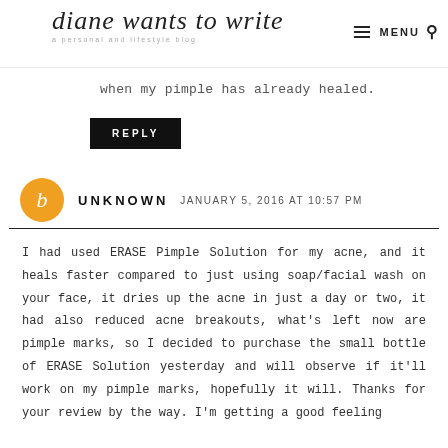diane wants to write — a personal and lifestyle blog
when my pimple has already healed.
REPLY
UNKNOWN   JANUARY 5, 2016 AT 10:57 PM
I had used ERASE Pimple Solution for my acne, and it heals faster compared to just using soap/facial wash on your face, it dries up the acne in just a day or two, it had also reduced acne breakouts, what's left now are pimple marks, so I decided to purchase the small bottle of ERASE Solution yesterday and will observe if it'll work on my pimple marks, hopefully it will. Thanks for your review by the way. I'm getting a good feeling